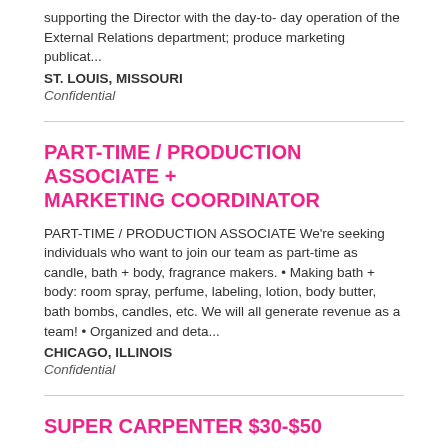supporting the Director with the day-to- day operation of the External Relations department; produce marketing publicat...
ST. LOUIS, MISSOURI
Confidential
PART-TIME / PRODUCTION ASSOCIATE + MARKETING COORDINATOR
PART-TIME / PRODUCTION ASSOCIATE We're seeking individuals who want to join our team as part-time as candle, bath + body, fragrance makers. • Making bath + body: room spray, perfume, labeling, lotion, body butter, bath bombs, candles, etc. We will all generate revenue as a team! • Organized and deta...
CHICAGO, ILLINOIS
Confidential
SUPER CARPENTER $30-$50
I am looking for a carpenters with mid-high experience with a good work ethic and motivated to work in a small fast pace crew as well as occasionally by himself/herself and build beautiful composite wood decks mostly with TREX. Position is full-time but part-time is